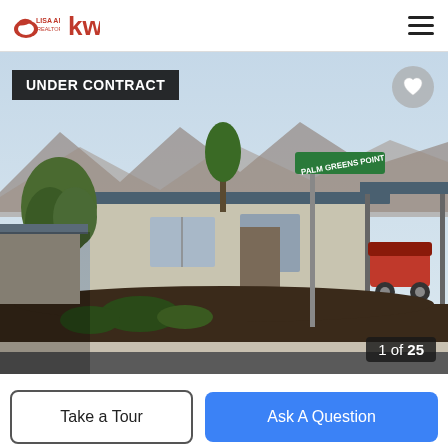Lisa Angell Realtor | KW
[Figure (photo): Exterior photo of a single-story residential home with desert landscaping (dark gravel, shrubs, trees), a carport with golf cart, street sign reading 'Palm Greens Point', under a partly cloudy sky. Badge reading 'UNDER CONTRACT' in top left, heart icon top right, photo counter '1 of 25' bottom right.]
Take a Tour
Ask A Question